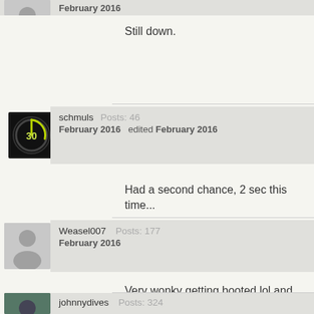February 2016
Still down.
schmuls  Posts: 46
February 2016  edited February 2016
Had a second chance, 2 sec this time...
Weasel007  Posts: 177
February 2016
Very wonky getting booted lol and factory still said locked
johnnydives  Posts: 324